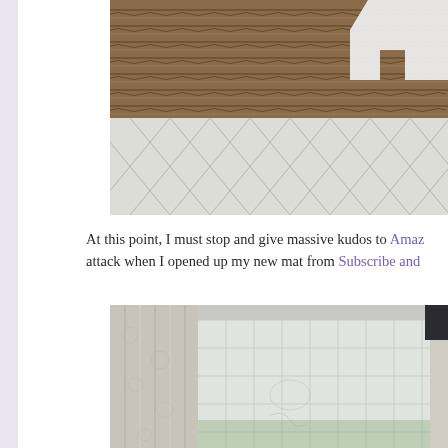[Figure (photo): Close-up photo of a yoga/exercise mat on cardboard packaging. The top portion shows brown corrugated cardboard with horizontal lines, and the bottom portion shows white quilted fabric with diamond pattern stitching. A white foam/styrofoam shape (resembling a yoga figure) is visible in the upper right corner.]
At this point, I must stop and give massive kudos to Amaz... attack when I opened up my new mat from Subscribe and...
[Figure (photo): Interior room photo showing white patterned curtains on the left side and a window with frosted/privacy film covered in a grid pattern. Through the window, green foliage is visible outside. A dark ceiling/beam is visible at the top right.]